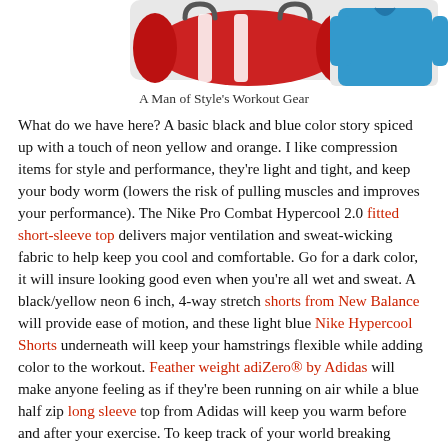[Figure (photo): Product photo showing a red duffel bag on the left and a blue athletic long-sleeve top on the right against a white background.]
A Man of Style's Workout Gear
What do we have here? A basic black and blue color story spiced up with a touch of neon yellow and orange. I like compression items for style and performance, they're light and tight, and keep your body worm (lowers the risk of pulling muscles and improves your performance). The Nike Pro Combat Hypercool 2.0 fitted short-sleeve top delivers major ventilation and sweat-wicking fabric to help keep you cool and comfortable. Go for a dark color, it will insure looking good even when you're all wet and sweat. A black/yellow neon 6 inch, 4-way stretch shorts from New Balance will provide ease of motion, and these light blue Nike Hypercool Shorts underneath will keep your hamstrings flexible while adding color to the workout. Feather weight adiZero® by Adidas will make anyone feeling as if they're been running on air while a blue half zip long sleeve top from Adidas will keep you warm before and after your exercise. To keep track of your world breaking records use the help of Nike SportWatch GPS while blasting your workout playlist